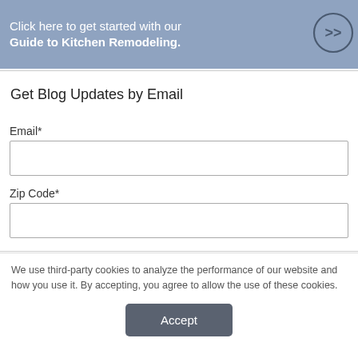[Figure (infographic): Blue banner with text 'Click here to get started with our Guide to Kitchen Remodeling.' and a double-arrow circle icon on the right]
Get Blog Updates by Email
Email*
Zip Code*
We use third-party cookies to analyze the performance of our website and how you use it. By accepting, you agree to allow the use of these cookies.
Accept